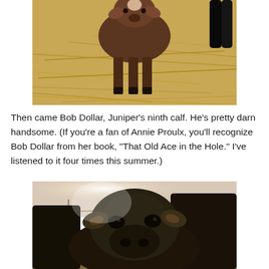[Figure (photo): A young brown calf standing on dry hay/straw, viewed from above and slightly to the side. Black legs visible at edge.]
Then came Bob Dollar, Juniper's ninth calf. He's pretty darn handsome. (If you're a fan of Annie Proulx, you'll recognize Bob Dollar from her book, “That Old Ace in the Hole.” I've listened to it four times this summer.)
[Figure (photo): A close-up photo of a large black cow facing the camera directly, with another dark cow beside it. Sunlight flare visible in background with a fence line.]